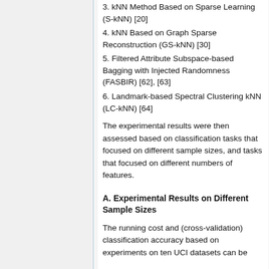3. kNN Method Based on Sparse Learning (S-kNN) [20]
4. kNN Based on Graph Sparse Reconstruction (GS-kNN) [30]
5. Filtered Attribute Subspace-based Bagging with Injected Randomness (FASBIR) [62], [63]
6. Landmark-based Spectral Clustering kNN (LC-kNN) [64]
The experimental results were then assessed based on classification tasks that focused on different sample sizes, and tasks that focused on different numbers of features.
A. Experimental Results on Different Sample Sizes
The running cost and (cross-validation) classification accuracy based on experiments on ten UCI datasets can be